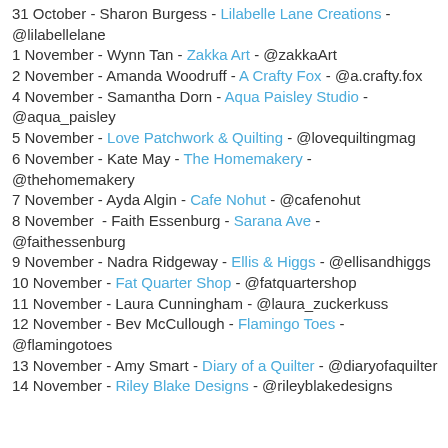31 October - Sharon Burgess - Lilabelle Lane Creations - @lilabellelane
1 November - Wynn Tan - Zakka Art - @zakkaArt
2 November - Amanda Woodruff - A Crafty Fox - @a.crafty.fox
4 November - Samantha Dorn - Aqua Paisley Studio - @aqua_paisley
5 November - Love Patchwork & Quilting - @lovequiltingmag
6 November - Kate May - The Homemakery - @thehomemakery
7 November - Ayda Algin - Cafe Nohut - @cafenohut
8 November - Faith Essenburg - Sarana Ave - @faithessenburg
9 November - Nadra Ridgeway - Ellis & Higgs - @ellisandhiggs
10 November - Fat Quarter Shop - @fatquartershop
11 November - Laura Cunningham - @laura_zuckerkuss
12 November - Bev McCullough - Flamingo Toes - @flamingotoes
13 November - Amy Smart - Diary of a Quilter - @diaryofaquilter
14 November - Riley Blake Designs - @rileyblakedesigns